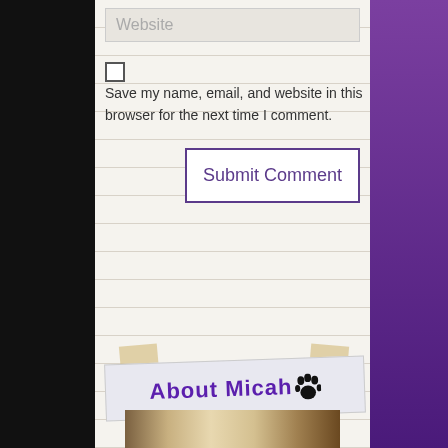Website
Save my name, email, and website in this browser for the next time I comment.
Submit Comment
[Figure (illustration): About Micah banner with tape, purple paw print, and photo of a young person below]